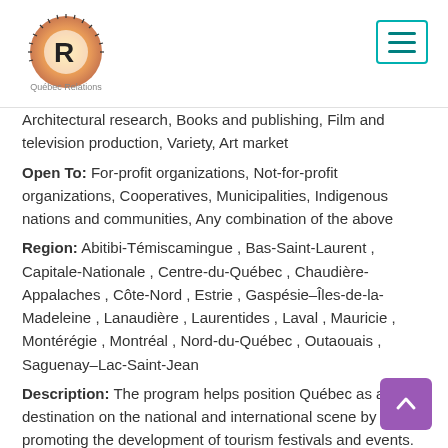Quebec Relations logo and navigation menu
Architectural research, Books and publishing, Film and television production, Variety, Art market
Open To: For-profit organizations, Not-for-profit organizations, Cooperatives, Municipalities, Indigenous nations and communities, Any combination of the above
Region: Abitibi-Témiscamingue , Bas-Saint-Laurent , Capitale-Nationale , Centre-du-Québec , Chaudière-Appalaches , Côte-Nord , Estrie , Gaspésie–Îles-de-la-Madeleine , Lanaudière , Laurentides , Laval , Mauricie , Montérégie , Montréal , Nord-du-Québec , Outaouais , Saguenay–Lac-Saint-Jean
Description: The program helps position Québec as a destination on the national and international scene by promoting the development of tourism festivals and events. It stimulates the economy of the regions by increasing the number of visitors and tourist...